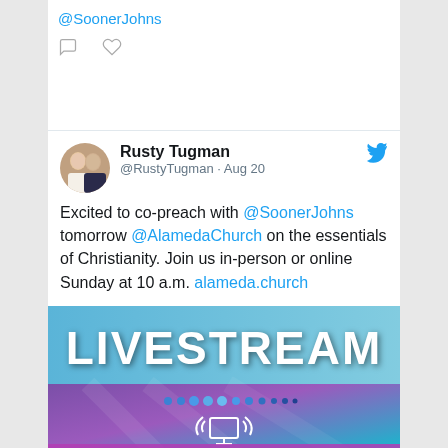@SoonerJohns
[Figure (screenshot): Comment and heart icon buttons]
Rusty Tugman @RustyTugman · Aug 20
Excited to co-preach with @SoonerJohns tomorrow @AlamedaChurch on the essentials of Christianity. Join us in-person or online Sunday at 10 a.m. alameda.church
[Figure (photo): Livestream banner image with text LIVESTREAM and Sundays at 10 am, gradient blue/purple background with broadcast icon]
alameda.church
Alameda Church of Christ | Home